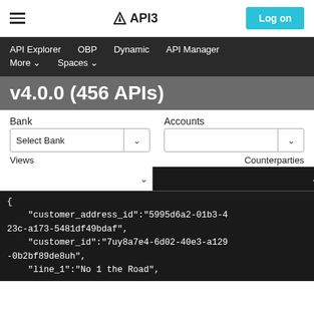API3 Log on
API Explorer   OBP   Dynamic   API Manager   More   Spaces
v4.0.0 (456 APIs)
Bank   Accounts
Select Bank  [dropdown]   [dropdown]
Views   Counterparties
{
    "customer_address_id":"5995d6a2-01b3-423c-a173-5481df49bdaf",
    "customer_id":"7uy8a7e4-6d02-40e3-a129-0b2bf89de8uh",
    "line_1":"No 1 the Road",